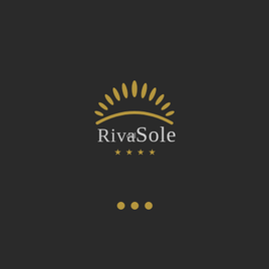[Figure (logo): Riva del Sole four-star hotel logo: a gold arc/horizon line with radiating leaf-shaped rays above it forming a sun, with the text 'Riva del Sole' and four gold stars below, followed by three gold dots beneath the logo]